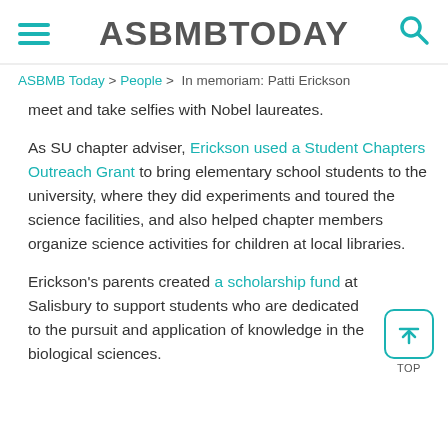ASBMBTODAY
ASBMB Today > People > In memoriam: Patti Erickson
meet and take selfies with Nobel laureates.
As SU chapter adviser, Erickson used a Student Chapters Outreach Grant to bring elementary school students to the university, where they did experiments and toured the science facilities, and also helped chapter members organize science activities for children at local libraries.
Erickson's parents created a scholarship fund at Salisbury to support students who are dedicated to the pursuit and application of knowledge in the biological sciences.